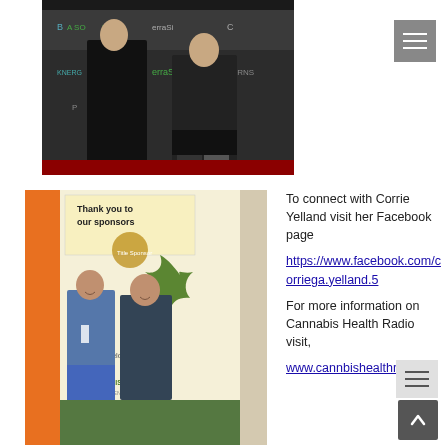[Figure (photo): Two people standing in front of a sponsor backdrop at an event, dressed in dark clothing]
[Figure (photo): Two women standing in front of a Cannabis Health conference banner that reads 'Thank you to our sponsors' and 'Welcome to the Cannabis Health']
To connect with Corrie Yelland visit her Facebook page https://www.facebook.com/corriega.yelland.5

For more information on Cannabis Health Radio visit,

www.cannbishealthradio.c